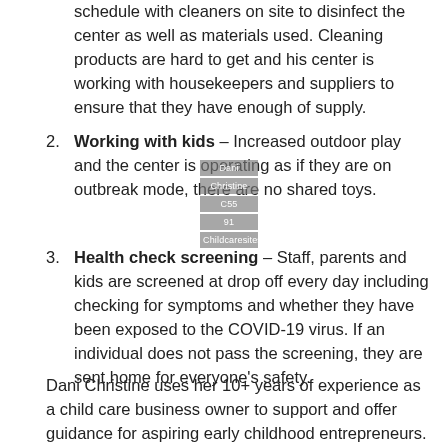schedule with cleaners on site to disinfect the center as well as materials used. Cleaning products are hard to get and his center is working with housekeepers and suppliers to ensure that they have enough of supply.
Working with kids – Increased outdoor play and the center is operating as if they are on outbreak mode, there are no shared toys.
Health check screening – Staff, parents and kids are screened at drop off every day including checking for symptoms and whether they have been exposed to the COVID-19 virus. If an individual does not pass the screening, they are sent home for everyone's safety.
Dani Christine uses her 10+ years of experience as a child care business owner to support and offer guidance for aspiring early childhood entrepreneurs.